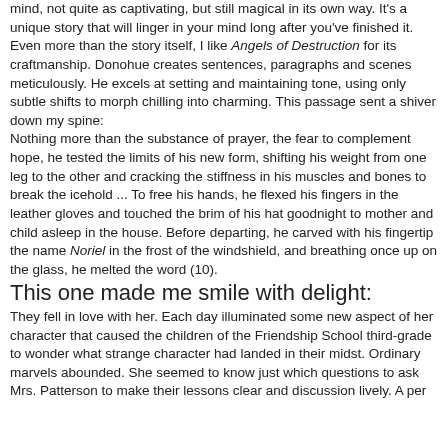mind, not quite as captivating, but still magical in its own way. It's a unique story that will linger in your mind long after you've finished it.
Even more than the story itself, I like Angels of Destruction for its craftmanship. Donohue creates sentences, paragraphs and scenes meticulously. He excels at setting and maintaining tone, using only subtle shifts to morph chilling into charming. This passage sent a shiver down my spine:
Nothing more than the substance of prayer, the fear to complement hope, he tested the limits of his new form, shifting his weight from one leg to the other and cracking the stiffness in his muscles and bones to break the icehold ... To free his hands, he flexed his fingers in the leather gloves and touched the brim of his hat goodnight to mother and child asleep in the house. Before departing, he carved with his fingertip the name Noriel in the frost of the windshield, and breathing once up on the glass, he melted the word (10).
This one made me smile with delight:
They fell in love with her. Each day illuminated some new aspect of her character that caused the children of the Friendship School third-grade to wonder what strange character had landed in their midst. Ordinary marvels abounded. She seemed to know just which questions to ask Mrs. Patterson to make their lessons clear and discussion lively. A per